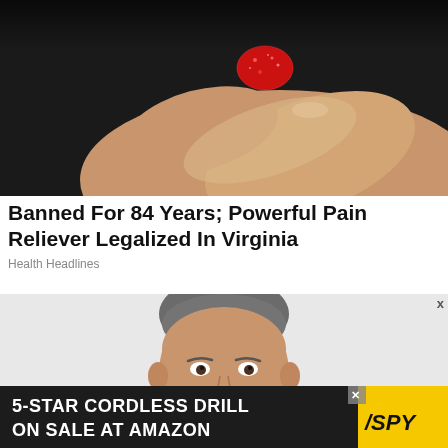[Figure (photo): Close-up of fingers holding a small red sugary candy or gummy against a dark background]
Banned For 84 Years; Powerful Pain Reliever Legalized In Virginia
Health Headlines
[Figure (photo): Man in a suit smiling in front of a Warner Media or similar backdrop, partial text 'WARN' and 'MED' visible]
X
[Figure (infographic): Advertisement banner: '5-STAR CORDLESS DRILL ON SALE AT AMAZON' with SPY logo on yellow background]